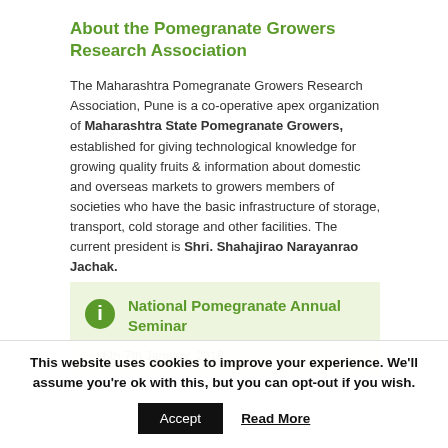About the Pomegranate Growers Research Association
The Maharashtra Pomegranate Growers Research Association, Pune is a co-operative apex organization of Maharashtra State Pomegranate Growers, established for giving technological knowledge for growing quality fruits & information about domestic and overseas markets to growers members of societies who have the basic infrastructure of storage, transport, cold storage and other facilities. The current president is Shri. Shahajirao Narayanrao Jachak.
National Pomegranate Annual Seminar
6th-7th January, 2018
This website uses cookies to improve your experience. We'll assume you're ok with this, but you can opt-out if you wish.